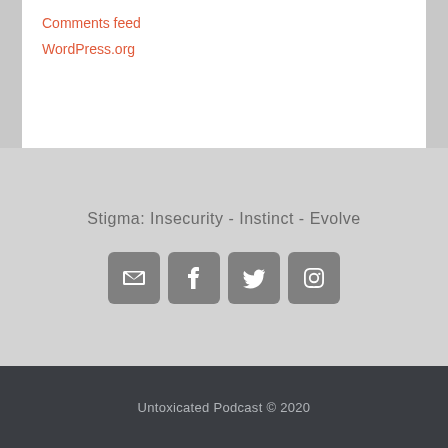Comments feed
WordPress.org
Stigma: Insecurity - Instinct - Evolve
[Figure (infographic): Four social media icon buttons: email, Facebook, Twitter, Instagram]
Untoxicated Podcast © 2020